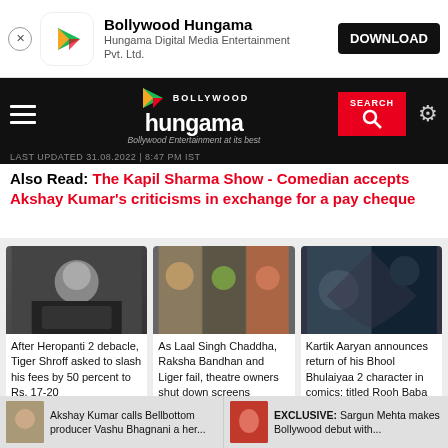[Figure (screenshot): App install banner with Bollywood Hungama app icon, name, publisher, and DOWNLOAD button]
[Figure (screenshot): Bollywood Hungama navigation bar with hamburger menu, logo, search button, and settings icon]
LAST UPDATED 31.08.2022 | 8:47 PM IST
Also Read: The Kapil Sharma Show - Comedian accepts Akshay Kumar's criticisms in exchange for a pay cheque
[Figure (photo): Three movie/entertainment thumbnails: Tiger Shroff, Laal Singh Chaddha/Raksha Bandhan/Liger group, Kartik Aaryan Bhool Bhulaiyaa 2]
After Heropanti 2 debacle, Tiger Shroff asked to slash his fees by 50 percent to Rs. 17-20
As Laal Singh Chaddha, Raksha Bandhan and Liger fail, theatre owners shut down screens
Kartik Aaryan announces return of his Bhool Bhulaiyaa 2 character in comics; titled Rooh Baba
Akshay Kumar calls Bellbottom producer Vashu Bhagnani a her...
EXCLUSIVE: Sargun Mehta makes Bollywood debut with...